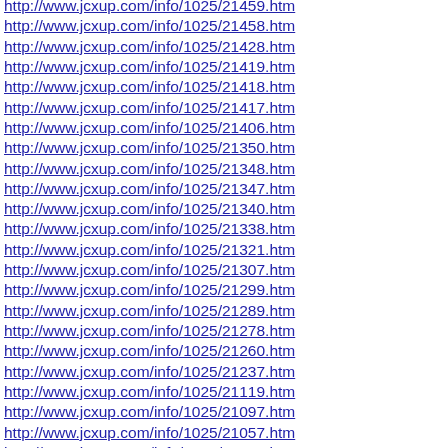http://www.jcxup.com/info/1025/21459.htm
http://www.jcxup.com/info/1025/21458.htm
http://www.jcxup.com/info/1025/21428.htm
http://www.jcxup.com/info/1025/21419.htm
http://www.jcxup.com/info/1025/21418.htm
http://www.jcxup.com/info/1025/21417.htm
http://www.jcxup.com/info/1025/21406.htm
http://www.jcxup.com/info/1025/21350.htm
http://www.jcxup.com/info/1025/21348.htm
http://www.jcxup.com/info/1025/21347.htm
http://www.jcxup.com/info/1025/21340.htm
http://www.jcxup.com/info/1025/21338.htm
http://www.jcxup.com/info/1025/21321.htm
http://www.jcxup.com/info/1025/21307.htm
http://www.jcxup.com/info/1025/21299.htm
http://www.jcxup.com/info/1025/21289.htm
http://www.jcxup.com/info/1025/21278.htm
http://www.jcxup.com/info/1025/21260.htm
http://www.jcxup.com/info/1025/21237.htm
http://www.jcxup.com/info/1025/21119.htm
http://www.jcxup.com/info/1025/21097.htm
http://www.jcxup.com/info/1025/21057.htm
http://www.jcxup.com/info/1025/21020.htm
http://www.jcxup.com/info/1025/20907.htm
http://www.jcxup.com/info/1025/20856.htm
http://www.jcxup.com/info/1025/20853.htm